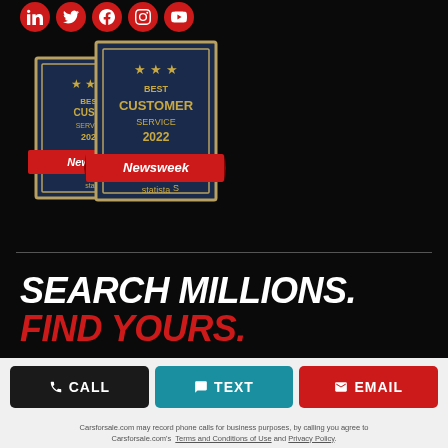[Figure (illustration): Social media icon row: LinkedIn, Twitter/X, Facebook, Instagram, YouTube — all circular red icons with white logos]
[Figure (illustration): Two overlapping award badges: 'Best Customer Service 2021' and 'Best Customer Service 2022', both from Newsweek and statista, dark navy blue with gold/red accents]
SEARCH MILLIONS. FIND YOURS.
Privacy Policy
[Figure (other): Three CTA buttons: CALL (dark), TEXT (teal), EMAIL (red)]
Carsforsale.com may record phone calls for business purposes, by calling you agree to Carsforsale.com's Terms and Conditions of Use and Privacy Policy.